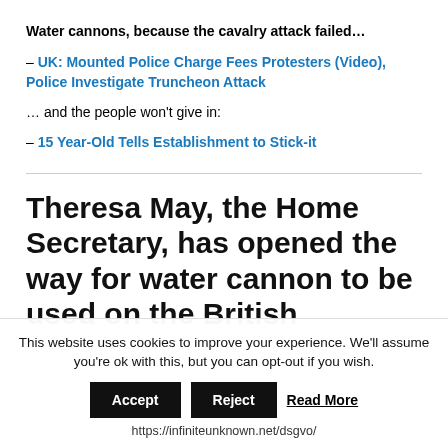Water cannons, because the cavalry attack failed…
– UK: Mounted Police Charge Fees Protesters (Video), Police Investigate Truncheon Attack
… and the people won't give in:
– 15 Year-Old Tells Establishment to Stick-it
Theresa May, the Home Secretary, has opened the way for water cannon to be used on the British
This website uses cookies to improve your experience. We'll assume you're ok with this, but you can opt-out if you wish. Accept Reject Read More https://infiniteunknown.net/dsgvo/